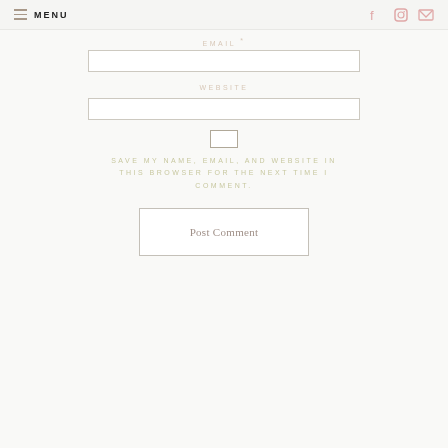MENU
EMAIL *
WEBSITE
SAVE MY NAME, EMAIL, AND WEBSITE IN THIS BROWSER FOR THE NEXT TIME I COMMENT.
Post Comment